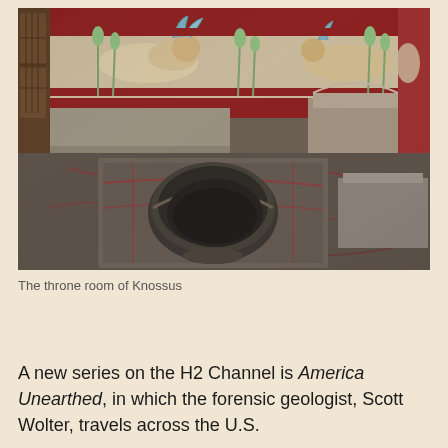[Figure (photo): The throne room of Knossus — an ancient Minoan palace room with a stone throne, a large stone basin/lustral basin in the center of the floor on a raised platform, red-veined marble flooring, and colorful frescoes on the walls depicting griffins and papyrus plants in red and white.]
The throne room of Knossus
A new series on the H2 Channel is America Unearthed, in which the forensic geologist, Scott Wolter, travels across the U.S.